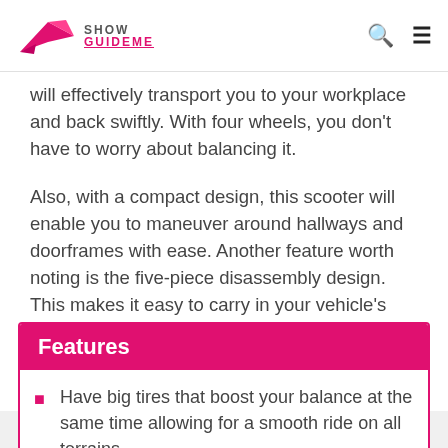Show GuideMe
will effectively transport you to your workplace and back swiftly. With four wheels, you don't have to worry about balancing it.
Also, with a compact design, this scooter will enable you to maneuver around hallways and doorframes with ease. Another feature worth noting is the five-piece disassembly design. This makes it easy to carry in your vehicle's trunk. The model also boasts of LED lights and taillights, giving you convenience and much-needed safety when riding at night.
Features
Have big tires that boost your balance at the same time allowing for a smooth ride on all terrains